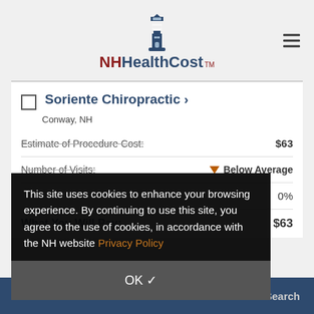[Figure (logo): NH HealthCost lighthouse logo with text 'NH HealthCost' and TM mark]
Soriente Chiropractic >
Conway, NH
Estimate of Procedure Cost: $63
Number of Visits: ▼ Below Average
0%
What You Will Pay: $63
This site uses cookies to enhance your browsing experience. By continuing to use this site, you agree to the use of cookies, in accordance with the NH website Privacy Policy
OK ✓
COMPARE SELECTED
Search